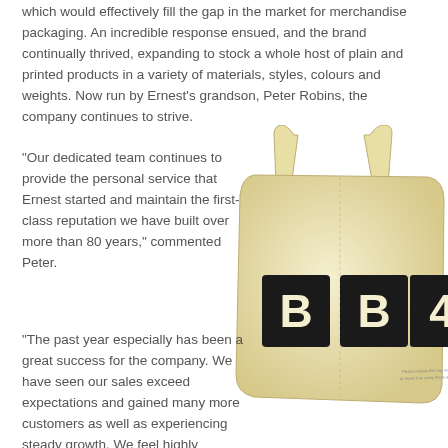which would effectively fill the gap in the market for merchandise packaging. An incredible response ensued, and the brand continually thrived, expanding to stock a whole host of plain and printed products in a variety of materials, styles, colours and weights. Now run by Ernest's grandson, Peter Robins, the company continues to strive.
"Our dedicated team continues to provide the personal service that Ernest started and maintain the first-class reputation we have built over more than 80 years," commented Peter.
[Figure (photo): A cream/natural cotton tote bag with black BBC4 logo printed on it, photographed against a white background.]
"The past year especially has been a great success for the company. We have seen our sales exceed expectations and gained many more customers as well as experiencing steady growth. We feel highly honoured to have been named the company of the year and